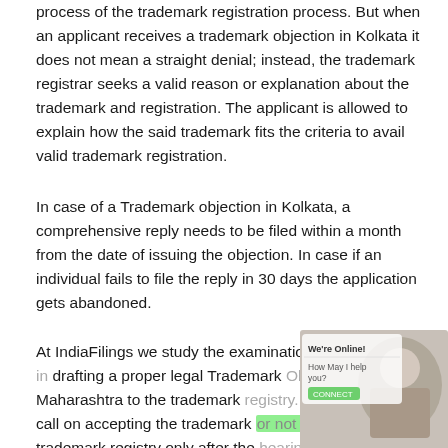process of the trademark registration process. But when an applicant receives a trademark objection in Kolkata it does not mean a straight denial; instead, the trademark registrar seeks a valid reason or explanation about the trademark and registration. The applicant is allowed to explain how the said trademark fits the criteria to avail valid trademark registration.
In case of a Trademark objection in Kolkata, a comprehensive reply needs to be filed within a month from the date of issuing the objection. In case if an individual fails to file the reply in 30 days the application gets abandoned.
At IndiaFilings we study the examination report and help in drafting a proper legal Trademark Objection reply in Maharashtra to the trademark registry. However, the final call on accepting the trademark or not stands by the trademark registry only after the hearing. Trademark objection in Kolkata can be due to many reasons like similarity with an existing trademark, offensive trademark,
[Figure (screenshot): A chat widget overlay showing 'We're Online!' and 'How May I help you?' with a green highlight button and an avatar photo]